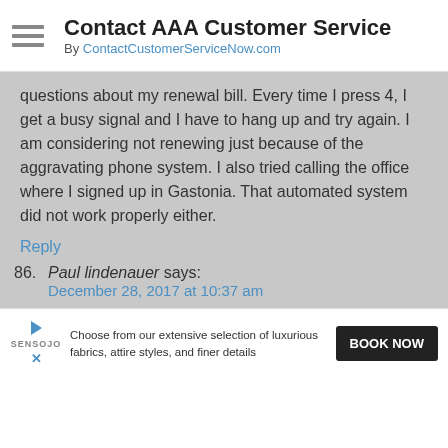Contact AAA Customer Service
By ContactCustomerServiceNow.com
questions about my renewal bill. Every time I press 4, I get a busy signal and I have to hang up and try again. I am considering not renewing just because of the aggravating phone system. I also tried calling the office where I signed up in Gastonia. That automated system did not work properly either.
Reply
86. Paul lindenauer says:
December 28, 2017 at 10:37 am
My wife and I have been members of aaa for most of our lifetimes....we are both about 70 years of age....we have used aaa infrequently over the years and we have had mostly favorable experiences.....UNTIL YESTERDAY....when we really needed help in an EMERGENCY....
We had a tire blowout on interstate 95 in
Choose from our extensive selection of luxurious fabrics, attire styles, and finer details
BOOK NOW